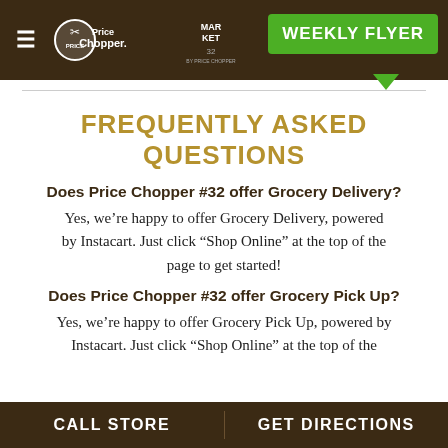[Figure (logo): Price Chopper and Market 32 logos in dark brown header bar with hamburger menu and Weekly Flyer green button]
FREQUENTLY ASKED QUESTIONS
Does Price Chopper #32 offer Grocery Delivery?
Yes, we're happy to offer Grocery Delivery, powered by Instacart. Just click “Shop Online” at the top of the page to get started!
Does Price Chopper #32 offer Grocery Pick Up?
Yes, we're happy to offer Grocery Pick Up, powered by Instacart. Just click “Shop Online” at the top of the
CALL STORE     GET DIRECTIONS